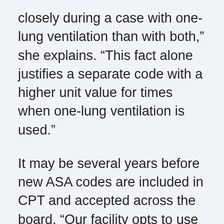closely during a case with one-lung ventilation than with both,” she explains. “This fact alone justifies a separate code with a higher unit value for times when one-lung ventilation is used.”
It may be several years before new ASA codes are included in CPT and accepted across the board. “Our facility opts to use only anesthesia codes that are included in CPT, so we aren’t able to use 00541,” Mullins says. “It would be nice to have 00541 added to CPT so that anesthesiologists who are providing the